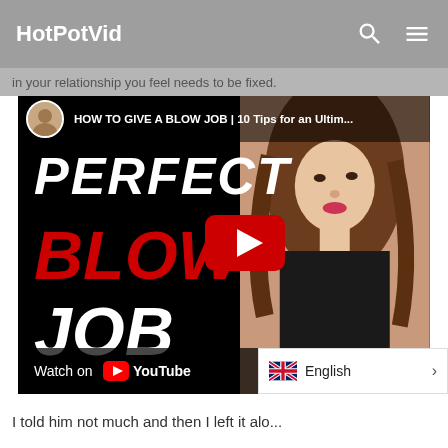HotPotVid
in your relationship you feel needs to be fixed.
[Figure (screenshot): YouTube video thumbnail embedded in webpage showing title 'HOW TO GIVE A BLOW JOB | 10 Tips for an Ulti...' with large text overlay reading PERFECT BLOW JOB in white and red italic text, a woman on the right side of the thumbnail, and a YouTube play button in the center. Bottom bar shows 'Watch on YouTube'.]
I told him not much and then I left it alo...